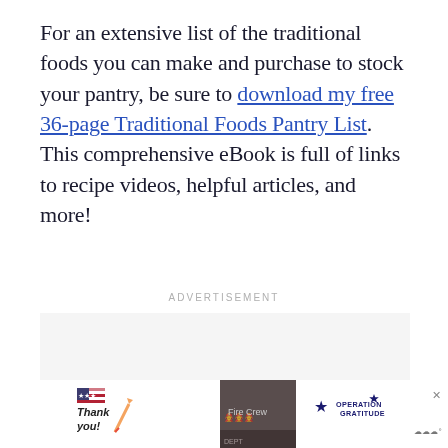For an extensive list of the traditional foods you can make and purchase to stock your pantry, be sure to download my free 36-page Traditional Foods Pantry List. This comprehensive eBook is full of links to recipe videos, helpful articles, and more!
ADVERTISEMENT
[Figure (other): Advertisement banner at bottom of page showing a 'Thank you' handwritten note with US flag, firefighters group photo, Operation Gratitude logo, and weather widget icon on dark background]